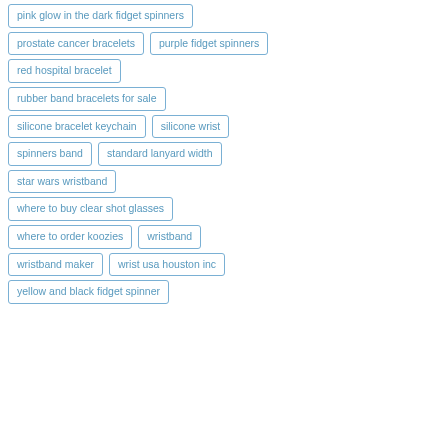pink glow in the dark fidget spinners
prostate cancer bracelets
purple fidget spinners
red hospital bracelet
rubber band bracelets for sale
silicone bracelet keychain
silicone wrist
spinners band
standard lanyard width
star wars wristband
where to buy clear shot glasses
where to order koozies
wristband
wristband maker
wrist usa houston inc
yellow and black fidget spinner